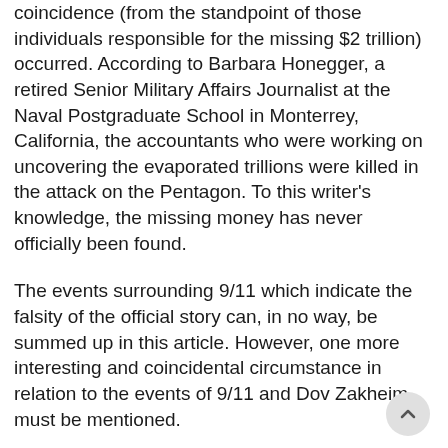coincidence (from the standpoint of those individuals responsible for the missing $2 trillion) occurred. According to Barbara Honegger, a retired Senior Military Affairs Journalist at the Naval Postgraduate School in Monterrey, California, the accountants who were working on uncovering the evaporated trillions were killed in the attack on the Pentagon. To this writer's knowledge, the missing money has never officially been found.
The events surrounding 9/11 which indicate the falsity of the official story can, in no way, be summed up in this article. However, one more interesting and coincidental circumstance in relation to the events of 9/11 and Dov Zakheim must be mentioned.
Before becoming Pentagon Comptroller, Zakheim